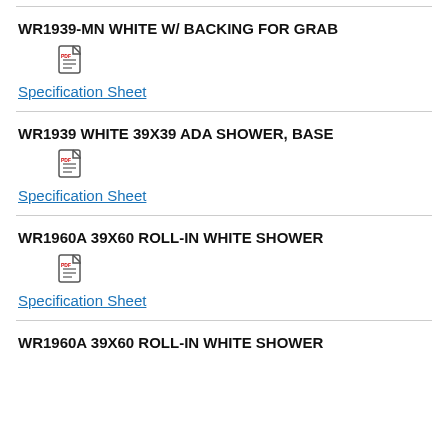WR1939-MN WHITE W/ BACKING FOR GRAB
Specification Sheet
WR1939 WHITE 39X39 ADA SHOWER, BASE
Specification Sheet
WR1960A 39X60 ROLL-IN WHITE SHOWER
Specification Sheet
WR1960A 39X60 ROLL-IN WHITE SHOWER